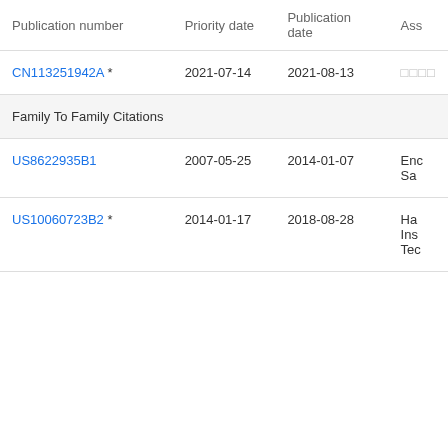| Publication number | Priority date | Publication date | Ass |
| --- | --- | --- | --- |
| CN113251942A * | 2021-07-14 | 2021-08-13 | □□□□ |
| Family To Family Citations |  |  |  |
| US8622935B1 | 2007-05-25 | 2014-01-07 | Enc Sa |
| US10060723B2 * | 2014-01-17 | 2018-08-28 | Ha Ins Tec |